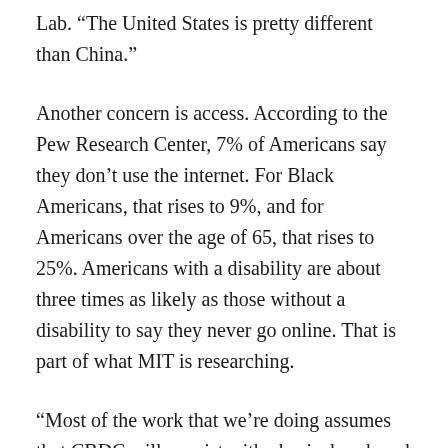Lab. “The United States is pretty different than China.”
Another concern is access. According to the Pew Research Center, 7% of Americans say they don’t use the internet. For Black Americans, that rises to 9%, and for Americans over the age of 65, that rises to 25%. Americans with a disability are about three times as likely as those without a disability to say they never go online. That is part of what MIT is researching.
“Most of the work that we’re doing assumes that CBDC will coexist with physical cash and that users will still be able to use physical cash if they want to,” Narula said.
The idea of a CBDC in the U.S. is aimed, in part, at making sure the dollar stays the monetary leader in the world economy.